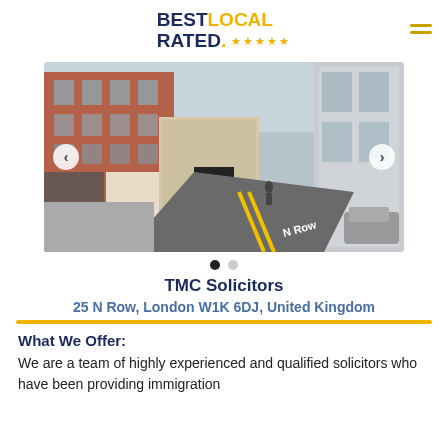[Figure (logo): Best Local Rated logo with star rating]
[Figure (photo): Street view photo of 25 N Row London W1K 6DJ showing a brick multi-storey building on a city street]
TMC Solicitors
25 N Row, London W1K 6DJ, United Kingdom
What We Offer:
We are a team of highly experienced and qualified solicitors who have been providing immigration